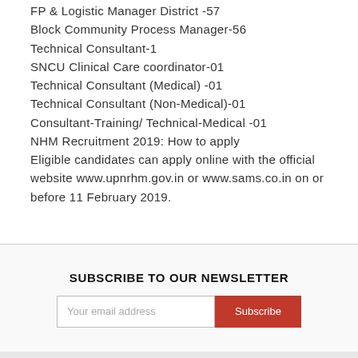FP & Logistic Manager District -57
Block Community Process Manager-56
Technical Consultant-1
SNCU Clinical Care coordinator-01
Technical Consultant (Medical) -01
Technical Consultant (Non-Medical)-01
Consultant-Training/ Technical-Medical -01
NHM Recruitment 2019: How to apply
Eligible candidates can apply online with the official website www.upnrhm.gov.in or www.sams.co.in on or before 11 February 2019.
SUBSCRIBE TO OUR NEWSLETTER
Your email address  Subscribe